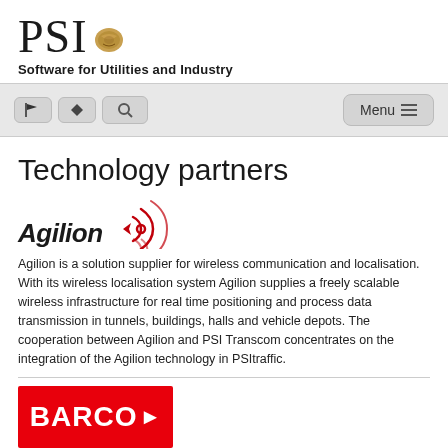[Figure (logo): PSI logo with walnut icon and subtitle 'Software for Utilities and Industry']
[Figure (screenshot): Navigation bar with flag icon, up/down arrows, search icon buttons on left, and Menu button on right]
Technology partners
[Figure (logo): Agilion logo with stylized wireless signal icon in red]
Agilion is a solution supplier for wireless communication and localisation. With its wireless localisation system Agilion supplies a freely scalable wireless infrastructure for real time positioning and process data transmission in tunnels, buildings, halls and vehicle depots. The cooperation between Agilion and PSI Transcom concentrates on the integration of the Agilion technology in PSItraffic.
[Figure (logo): BARCO logo - white text on red background with arrow symbol]